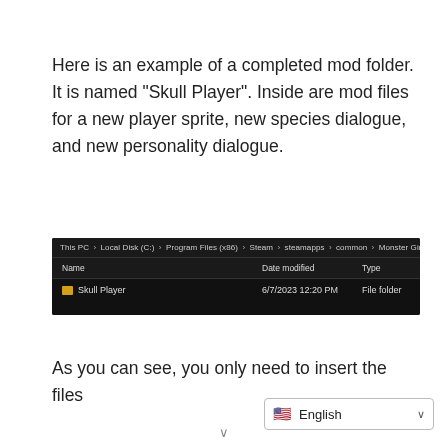Here is an example of a completed mod folder. It is named “Skull Player”. Inside are mod files for a new player sprite, new species dialogue, and new personality dialogue.
[Figure (screenshot): Windows File Explorer screenshot showing a breadcrumb path: This PC > Local Disk (C:) > Program Files (x86) > Steam > steamapps > common > Monster Girl Manager > Mods, with a single folder named 'Skull Player', date modified 6/7/2023 12:20 PM, type File folder.]
As you can see, you only need to insert the files